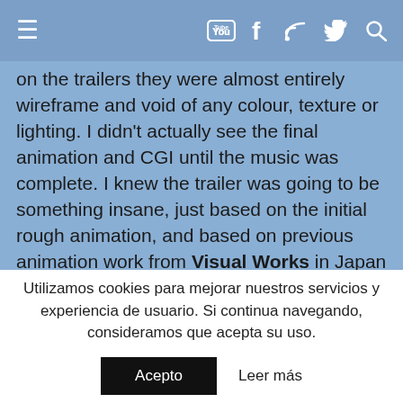≡  [YouTube] [Facebook] [RSS] [Twitter] [Search]
on the trailers they were almost entirely wireframe and void of any colour, texture or lighting. I didn't actually see the final animation and CGI until the music was complete. I knew the trailer was going to be something insane, just based on the initial rough animation, and based on previous animation work from Visual Works in Japan (the animation team behind the Final Fantasy series) and the team at Gold Tooth Creative in Vancouver (who directed the whole trailer). However, when I saw the final visuals and music put together I literally
Utilizamos cookies para mejorar nuestros servicios y experiencia de usuario. Si continua navegando, consideramos que acepta su uso.
Acepto   Leer más